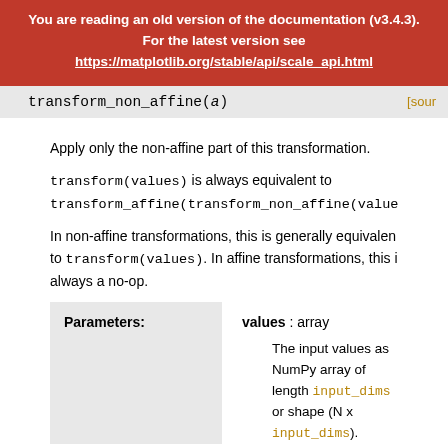You are reading an old version of the documentation (v3.4.3). For the latest version see https://matplotlib.org/stable/api/scale_api.html
transform_non_affine(a)
Apply only the non-affine part of this transformation.
transform(values) is always equivalent to transform_affine(transform_non_affine(values)...
In non-affine transformations, this is generally equivalent to transform(values). In affine transformations, this is always a no-op.
| Parameters: | values : array |
| --- | --- |
|  | The input values as NumPy array of length input_dims or shape (N x input_dims). |